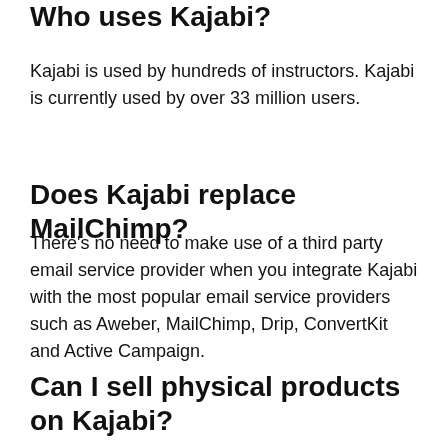Who uses Kajabi?
Kajabi is used by hundreds of instructors. Kajabi is currently used by over 33 million users.
Does Kajabi replace MailChimp?
There’s no need to make use of a third party email service provider when you integrate Kajabi with the most popular email service providers such as Aweber, MailChimp, Drip, ConvertKit and Active Campaign.
Can I sell physical products on Kajabi?